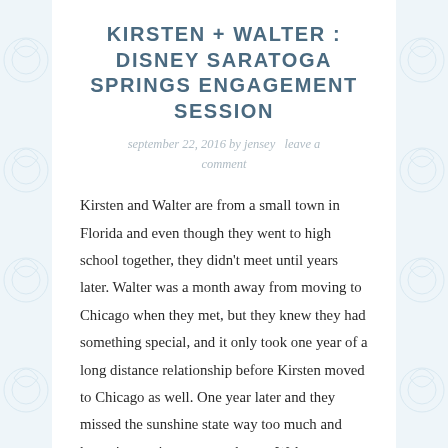KIRSTEN + WALTER : DISNEY SARATOGA SPRINGS ENGAGEMENT SESSION
september 22, 2016 by jensey   leave a comment
Kirsten and Walter are from a small town in Florida and even though they went to high school together, they didn't meet until years later. Walter was a month away from moving to Chicago when they met, but they knew they had something special, and it only took one year of a long distance relationship before Kirsten moved to Chicago as well. One year later and they missed the sunshine state way too much and knew it was time to come home. Walter proposed at Victoria and Albert's, and we're so excited for